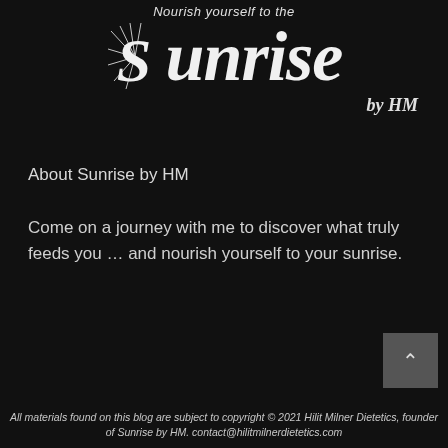Nourish yourself to the Sunrise by HM
About Sunrise by HM
Come on a journey with me to discover what truly feeds you … and nourish yourself to your sunrise.
All materials found on this blog are subject to copyright © 2021 Hilit Milner Dietetics, founder of Sunrise by HM. contact@hilitmilnerdietetics.com